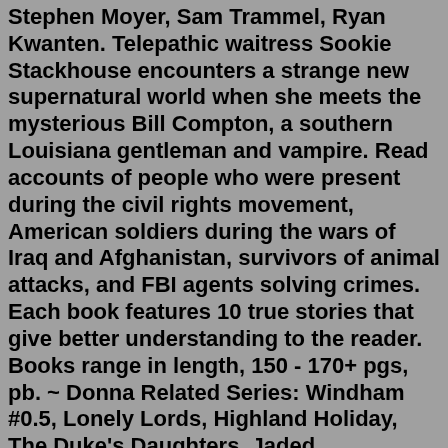Stephen Moyer, Sam Trammel, Ryan Kwanten. Telepathic waitress Sookie Stackhouse encounters a strange new supernatural world when she meets the mysterious Bill Compton, a southern Louisiana gentleman and vampire. Read accounts of people who were present during the civil rights movement, American soldiers during the wars of Iraq and Afghanistan, survivors of animal attacks, and FBI agents solving crimes. Each book features 10 true stories that give better understanding to the reader. Books range in length, 150 - 170+ pgs, pb. ~ Donna Related Series: Windham #0.5, Lonely Lords, Highland Holiday, The Duke's Daughters, Jaded Gentlemen. The True Gentlemen book series by Grace Burrowes includes books Tremaine's True Love, Daniel's Desire, Will's True Wish, and several more. See the complete True Gentlemen series book list in order, box sets or omnibus editions, and companion titles. I Survived True Stories - Books > I Survived True Stories #1: Five Epic Disasters; I Survived True Stories #2: Nature Attacks! I Survived